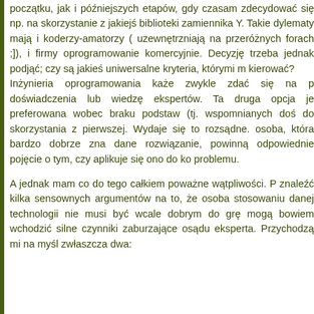początku, jak i późniejszych etapów, gdy czasam zdecydować się np. na skorzystanie z jakiejś biblioteki zamiennika Y. Takie dylematy mają i koderzy-amatorzy ( uzewnętrzniają na przeróżnych forach ;]), i firmy oprogramowanie komercyjnie. Decyzję trzeba jednak podjąć; czy są jakieś uniwersalne kryteria, którymi m kierować?
Inżynieria oprogramowania każe zwykle zdać się na p doświadczenia lub wiedzę ekspertów. Ta druga opcja je preferowana wobec braku podstaw (tj. wspomnianych doś do skorzystania z pierwszej. Wydaje się to rozsądne. osoba, która bardzo dobrze zna dane rozwiązanie, powinną odpowiednie pojęcie o tym, czy aplikuje się ono do ko problemu.
A jednak mam co do tego całkiem poważne wątpliwości. P znaleźć kilka sensownych argumentów na to, że osoba stosowaniu danej technologii nie musi być wcale dobrym do grę mogą bowiem wchodzić silne czynniki zaburzające osądu eksperta. Przychodzą mi na myśl zwłaszcza dwa: